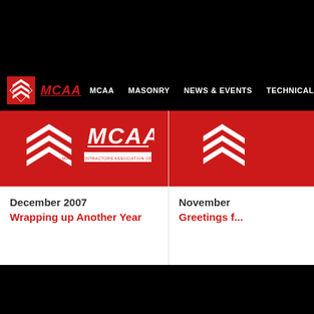[Figure (screenshot): MCAA website screenshot showing navigation bar with logo, nav links (MCAA, MASONRY, NEWS & EVENTS, TECHNICAL, ADVO...) and two newsletter cards. Left card: December 2007 - Wrapping up Another Year. Right card: November ... - Greetings f...]
MCAA  MASONRY  NEWS & EVENTS  TECHNICAL  ADVO...
December 2007
Wrapping up Another Year
November ...
Greetings f...